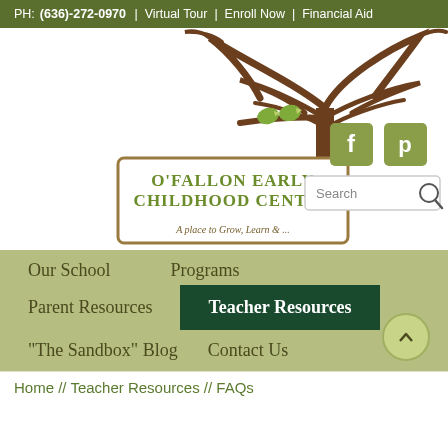PH: (636)-272-0970 | Virtual Tour | Enroll Now | Financial Aid
[Figure (logo): O'Fallon Early Childhood Center logo with tree, birds, and sign reading 'A place to Grow, Learn & ...' with social media icons (Facebook, Pinterest) and a search box]
Our School
Programs
Parent Resources
Teacher Resources
"The Sandbox" Blog
Contact Us
Home // Teacher Resources // FAQs